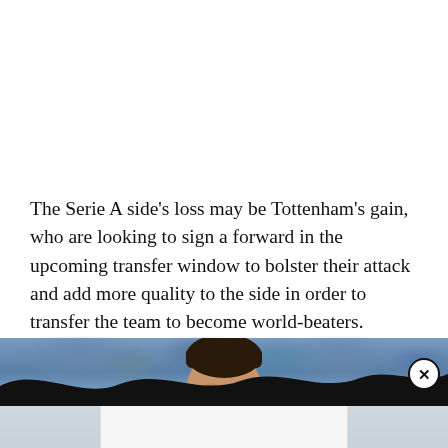The Serie A side's loss may be Tottenham's gain, who are looking to sign a forward in the upcoming transfer window to bolster their attack and add more quality to the side in order to transfer the team to become world-beaters.
[Figure (photo): A football player (face visible from forehead to chin) against a blurred crowd background at a stadium, with a wavy black banner overlay at the bottom and a circular close button (×) on the right side.]